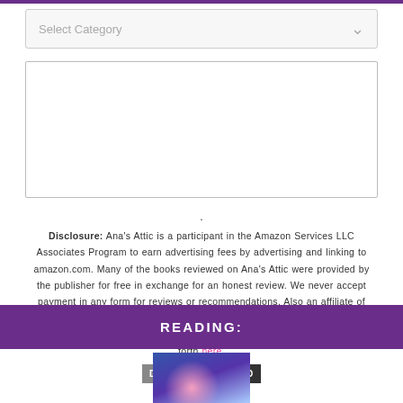Select Category
(text area / input box)
. Disclosure: Ana's Attic is a participant in the Amazon Services LLC Associates Program to earn advertising fees by advertising and linking to amazon.com. Many of the books reviewed on Ana's Attic were provided by the publisher for free in exchange for an honest review. We never accept payment in any form for reviews or recommendations. Also an affiliate of Target.com For our full, in-depth Terms & Conditions and Privacy Policies, CLICK HERE. By using this website you are consenting to our Policies as set forth here.
[Figure (logo): DMCA Protected badge with grey DMCA text on left and dark PROTECTED text on right]
READING:
[Figure (photo): Book cover partially visible at bottom of page]